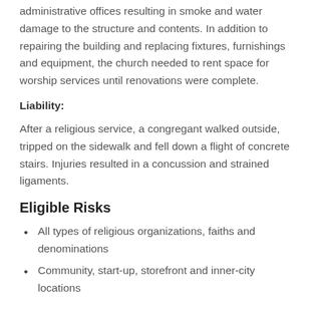administrative offices resulting in smoke and water damage to the structure and contents. In addition to repairing the building and replacing fixtures, furnishings and equipment, the church needed to rent space for worship services until renovations were complete.
Liability:
After a religious service, a congregant walked outside, tripped on the sidewalk and fell down a flight of concrete stairs. Injuries resulted in a concussion and strained ligaments.
Eligible Risks
All types of religious organizations, faiths and denominations
Community, start-up, storefront and inner-city locations